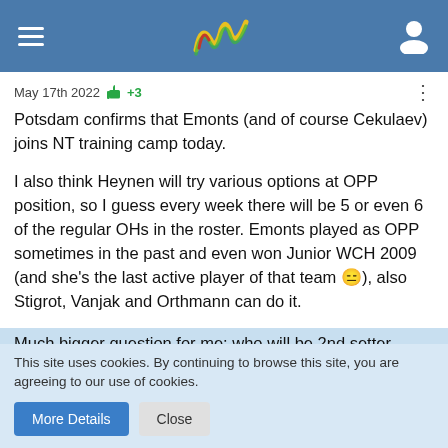Navigation header with hamburger menu, logo, and user icon
May 17th 2022  👍+3
Potsdam confirms that Emonts (and of course Cekulaev) joins NT training camp today.
I also think Heynen will try various options at OPP position, so I guess every week there will be 5 or even 6 of the regular OHs in the roster. Emonts played as OPP sometimes in the past and even won Junior WCH 2009 (and she's the last active player of that team 😑), also Stigrot, Vanjak and Orthmann can do it.
Much bigger question for me: who will be 2nd setter behind Kästner? 🙂 Straube is probably the most talented of the options, but she'll need time to develop. And it's not like Kästner is the most solid starting setter we ever had either...
This site uses cookies. By continuing to browse this site, you are agreeing to our use of cookies.
More Details | Close